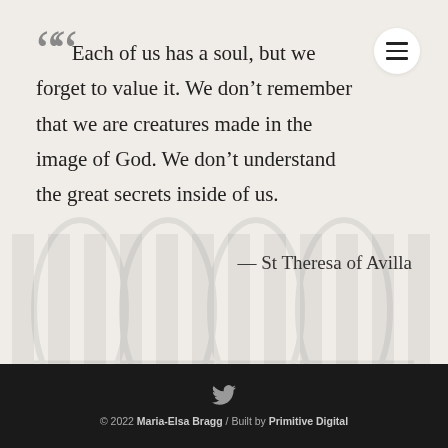“Each of us has a soul, but we forget to value it. We don’t remember that we are creatures made in the image of God. We don’t understand the great secrets inside of us.
— St Theresa of Avilla
© 2022 Maria-Elsa Bragg / Built by Primitive Digital